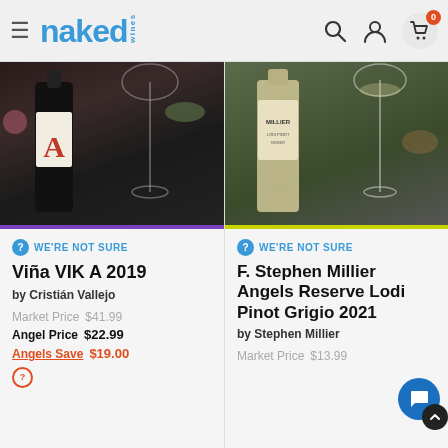naked wines
[Figure (photo): Wine bottle with large letter A on label, beside a wine glass, dark background with purple accent bar at bottom]
WE'RE NOT SURE
Viña VIK A 2019
by Cristián Vallejo
Market Price $41.99
Angel Price $22.99
Angels Save $19.00
[Figure (photo): F. Stephen Millier wine bottle with label showing MILLIER, beside a wine glass, greenish background with yellow-green accent bar at bottom]
WE'RE NOT SURE
F. Stephen Millier Angels Reserve Lodi Pinot Grigio 2021
by Stephen Millier
Market Price $13.99